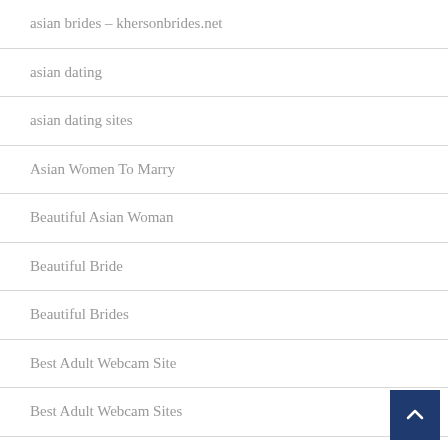asian brides – khersonbrides.net
asian dating
asian dating sites
Asian Women To Marry
Beautiful Asian Woman
Beautiful Bride
Beautiful Brides
Best Adult Webcam Site
Best Adult Webcam Sites
Best CBD Capsules